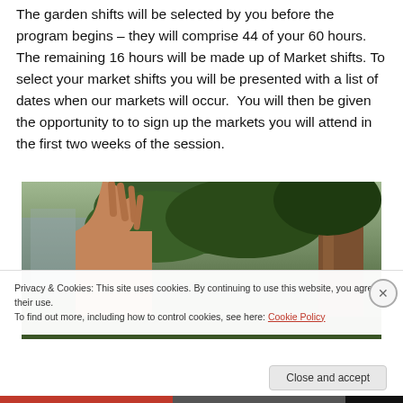The garden shifts will be selected by you before the program begins – they will comprise 44 of your 60 hours. The remaining 16 hours will be made up of Market shifts. To select your market shifts you will be presented with a list of dates when our markets will occur. You will then be given the opportunity to to sign up the markets you will attend in the first two weeks of the session.
[Figure (photo): Outdoor garden scene showing a person raising their hand with trees and greenery in the background]
Privacy & Cookies: This site uses cookies. By continuing to use this website, you agree to their use.
To find out more, including how to control cookies, see here: Cookie Policy
Close and accept